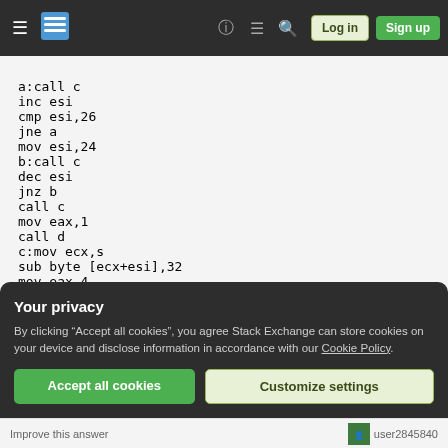Stack Exchange navigation bar with hamburger menu, logo, icons, Log in and Sign up buttons
a:call c
inc esi
cmp esi,26
jne a
mov esi,24
b:call c
dec esi
jnz b
call c
mov eax,1
call d
c:mov ecx,s
sub byte [ecx+esi],32
mov eax,4
mov edx,37
Your privacy
By clicking "Accept all cookies", you agree Stack Exchange can store cookies on your device and disclose information in accordance with our Cookie Policy.
Accept all cookies   Customize settings
Improve this answer   user2845840